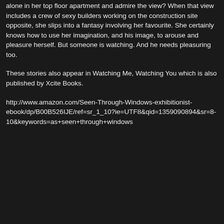alone in her top floor apartment and admire the view? When that view includes a crew of sexy builders working on the construction site opposite, she slips into a fantasy involving her favourite. She certainly knows how to use her imagination, and his image, to arouse and pleasure herself. But someone is watching. And he needs pleasuring too.
These stories also appear in Watching Me, Watching You which is also published by Xcite Books.
http://www.amazon.com/Seen-Through-Windows-exhibitionist-ebook/dp/B00B526IJE/ref=sr_1_10?ie=UTF8&qid=1359090894&sr=8-10&keywords=as+seen+through+windows